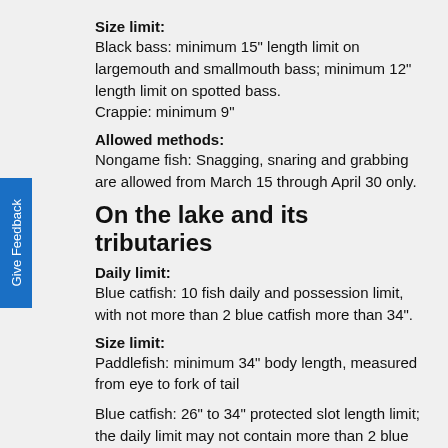Size limit:
Black bass: minimum 15" length limit on largemouth and smallmouth bass; minimum 12" length limit on spotted bass.
Crappie: minimum 9"
Allowed methods:
Nongame fish: Snagging, snaring and grabbing are allowed from March 15 through April 30 only.
On the lake and its tributaries
Daily limit:
Blue catfish: 10 fish daily and possession limit, with not more than 2 blue catfish more than 34".
Size limit:
Paddlefish: minimum 34" body length, measured from eye to fork of tail
Blue catfish: 26" to 34" protected slot length limit; the daily limit may not contain more than 2 blue catfish more than 34".